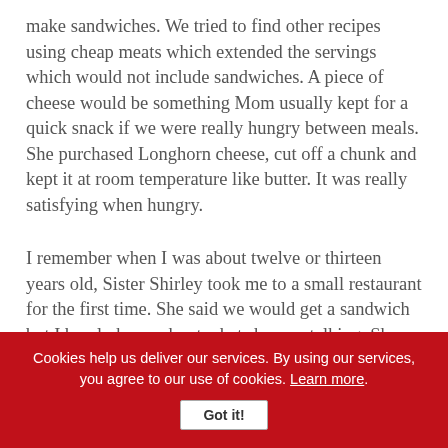make sandwiches. We tried to find other recipes using cheap meats which extended the servings which would not include sandwiches. A piece of cheese would be something Mom usually kept for a quick snack if we were really hungry between meals. She purchased Longhorn cheese, cut off a chunk and kept it at room temperature like butter. It was really satisfying when hungry.
I remember when I was about twelve or thirteen years old, Sister Shirley took me to a small restaurant for the first time. She said we would get a sandwich but I barely knew about what she was talking. She said the
Cookies help us deliver our services. By using our services, you agree to our use of cookies. Learn more. Got it!